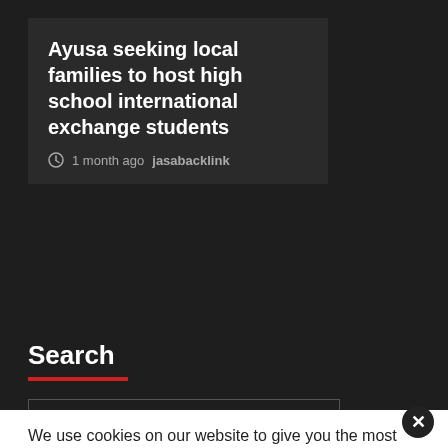Ayusa seeking local families to host high school international exchange students
1 month ago  jasabacklink
Search
We use cookies on our website to give you the most relevant experience by remembering your preferences and repeat visits. By clicking "Accept All", you consent to the use of ALL the cookies. However, you may visit "Cookie Settings" to provide a controlled consent.
This website stores data such as cookies to enable necessary site functionality, including analytics, targeting, and personalization. By remaining on this website you indicate your consent Cookie Policy